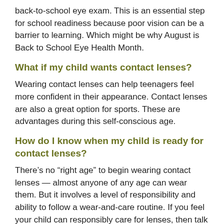back-to-school eye exam. This is an essential step for school readiness because poor vision can be a barrier to learning. Which might be why August is Back to School Eye Health Month.
What if my child wants contact lenses?
Wearing contact lenses can help teenagers feel more confident in their appearance. Contact lenses are also a great option for sports. These are advantages during this self-conscious age.
How do I know when my child is ready for contact lenses?
There’s no “right age” to begin wearing contact lenses — almost anyone of any age can wear them. But it involves a level of responsibility and ability to follow a wear-and-care routine. If you feel your child can responsibly care for lenses, then talk to their eye care professional to